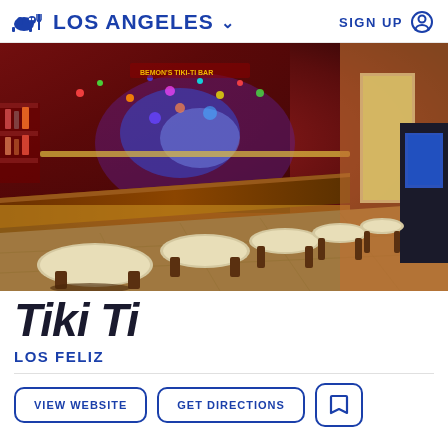LOS ANGELES  SIGN UP
[Figure (photo): Interior of Tiki Ti bar in Los Angeles, showing a long wooden bar with white-topped bar stools, colorful neon lights, and densely decorated walls with collectibles and signs.]
Tiki Ti
LOS FELIZ
VIEW WEBSITE  GET DIRECTIONS  [bookmark icon]